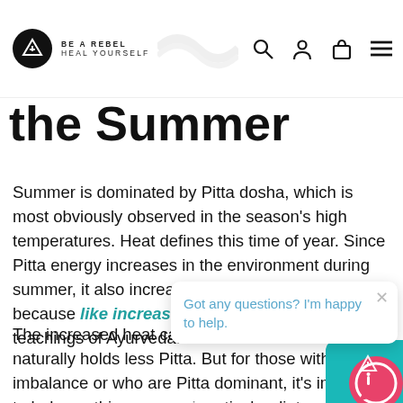BE A REBEL HEAL YOURSELF
the Summer
Summer is dominated by Pitta dosha, which is most obviously observed in the season's high temperatures. Heat defines this time of year. Since Pitta energy increases in the environment during summer, it also increases within our bodies. That's because like increases like according to the teachings of Ayurveda.
The increased heat can... physical make-up naturally holds less Pitta. But for those with a Pitta imbalance or who are Pitta dominant, it's important to balance this energy with particular diet and lifestyle habits, otherwise the body and mind may become imbalanced.